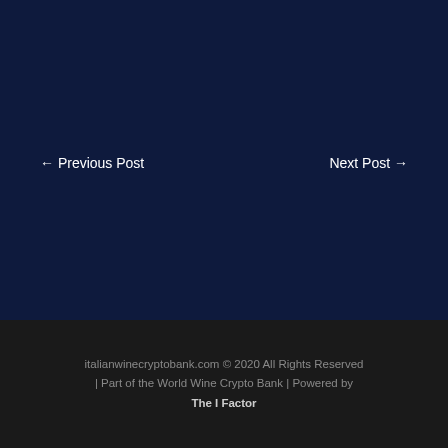← Previous Post
Next Post →
italianwinecryptobank.com © 2020 All Rights Reserved | Part of the World Wine Crypto Bank | Powered by The I Factor